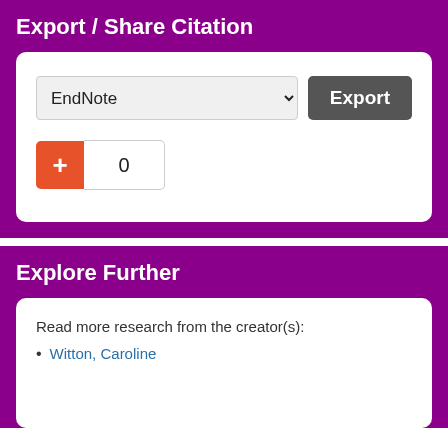Export / Share Citation
[Figure (screenshot): Export citation widget with EndNote dropdown selector and Export button, plus an add/bookmark button showing count 0]
Explore Further
Read more research from the creator(s):
Witton, Caroline